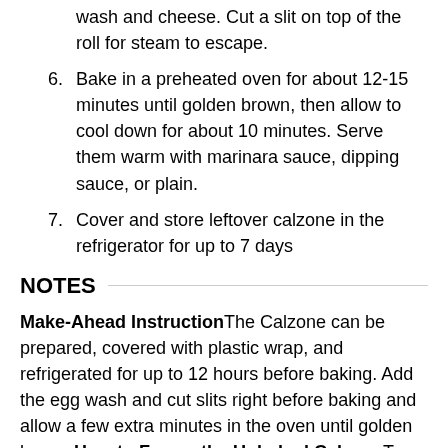wash and cheese. Cut a slit on top of the roll for steam to escape.
6. Bake in a preheated oven for about 12-15 minutes until golden brown, then allow to cool down for about 10 minutes. Serve them warm with marinara sauce, dipping sauce, or plain.
7. Cover and store leftover calzone in the refrigerator for up to 7 days
NOTES
Make-Ahead InstructionThe Calzone can be prepared, covered with plastic wrap, and refrigerated for up to 12 hours before baking. Add the egg wash and cut slits right before baking and allow a few extra minutes in the oven until golden brown.How to Freeze the Unbaked CalzoneTo freeze the Calzone before baking, fill and roll the stromboli as directed but do not add the egg wash or cut slits. Wrap tightly in plastic wrap and aluminum foil and freeze for up to